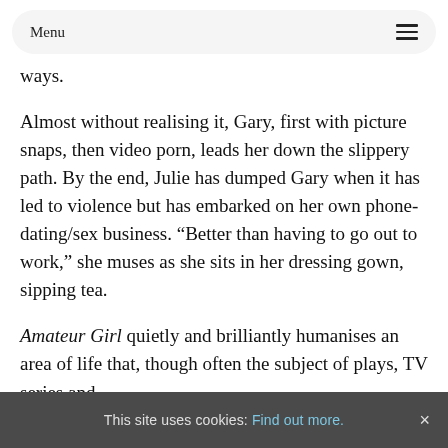Menu
ways.
Almost without realising it, Gary, first with picture snaps, then video porn, leads her down the slippery path. By the end, Julie has dumped Gary when it has led to violence but has embarked on her own phone-dating/sex business. “Better than having to go out to work,” she muses as she sits in her dressing gown, sipping tea.
Amateur Girl quietly and brilliantly humanises an area of life that, though often the subject of plays, TV series and
This site uses cookies: Find out more. ×